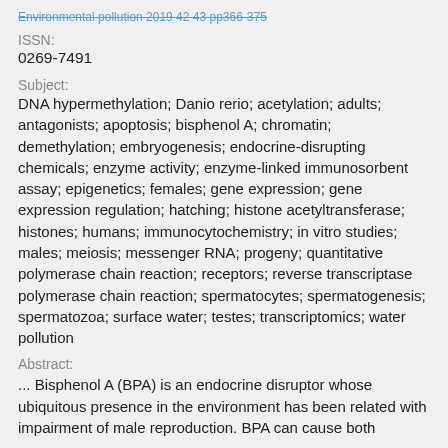Environmental pollution 2019 42 43 pp366-375
ISSN:
0269-7491
Subject:
DNA hypermethylation; Danio rerio; acetylation; adults; antagonists; apoptosis; bisphenol A; chromatin; demethylation; embryogenesis; endocrine-disrupting chemicals; enzyme activity; enzyme-linked immunosorbent assay; epigenetics; females; gene expression; gene expression regulation; hatching; histone acetyltransferase; histones; humans; immunocytochemistry; in vitro studies; males; meiosis; messenger RNA; progeny; quantitative polymerase chain reaction; receptors; reverse transcriptase polymerase chain reaction; spermatocytes; spermatogenesis; spermatozoa; surface water; testes; transcriptomics; water pollution
Abstract:
... Bisphenol A (BPA) is an endocrine disruptor whose ubiquitous presence in the environment has been related with impairment of male reproduction. BPA can cause both